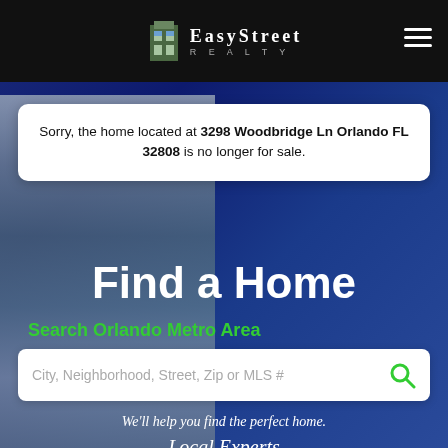[Figure (screenshot): EasyStreet Realty website header with black background, company logo (building icon with windows), company name in white serif font, and hamburger menu icon on the right]
Sorry, the home located at 3298 Woodbridge Ln Orlando FL 32808 is no longer for sale.
Find a Home
Search Orlando Metro Area
City, Neighborhood, Street, Zip or MLS #
We'll help you find the perfect home.
Local Experts